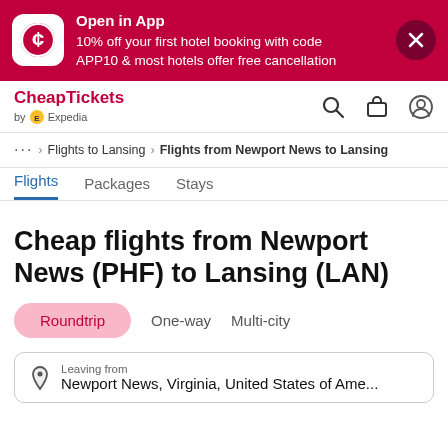[Figure (screenshot): App promotion banner with CheapTickets logo icon, text 'Open in App / 10% off your first hotel booking with code APP10 & most hotels offer free cancellation', and an X close button.]
CheapTickets by Expedia
... > Flights to Lansing > Flights from Newport News to Lansing
Flights  Packages  Stays
Cheap flights from Newport News (PHF) to Lansing (LAN)
Roundtrip  One-way  Multi-city
Leaving from
Newport News, Virginia, United States of Ame...